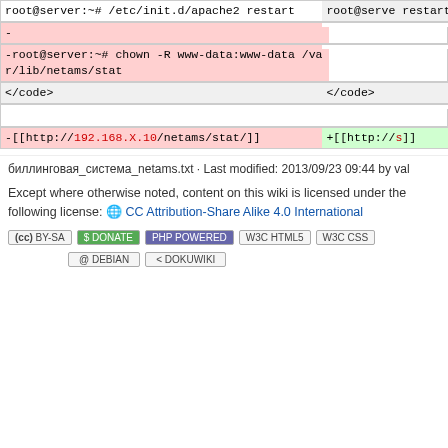[Figure (screenshot): Diff view showing two columns of code changes. Left column has pink background (removed lines) showing shell commands including apache2 restart, chown command, and a wiki link with IP 192.168.X.10. Right column shows partial corresponding lines.]
биллинговая_система_netams.txt · Last modified: 2013/09/23 09:44 by val
Except where otherwise noted, content on this wiki is licensed under the following license: 🌐 CC Attribution-Share Alike 4.0 International
[Figure (other): Row of badge icons: CC BY-SA, DONATE, PHP POWERED, WSC HTML5, WSC CSS, DEBIAN, DOKUWIKI]